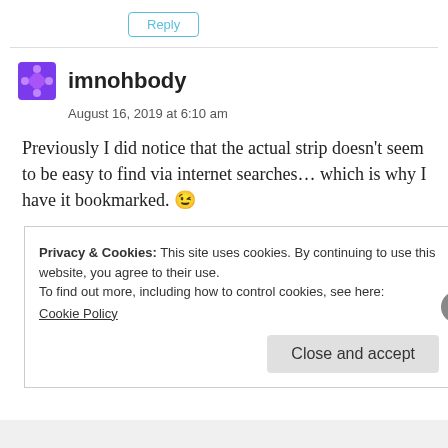Reply
imnohbody
August 16, 2019 at 6:10 am
Previously I did notice that the actual strip doesn't seem to be easy to find via internet searches… which is why I have it bookmarked. 😉
Privacy & Cookies: This site uses cookies. By continuing to use this website, you agree to their use.
To find out more, including how to control cookies, see here:
Cookie Policy
Close and accept